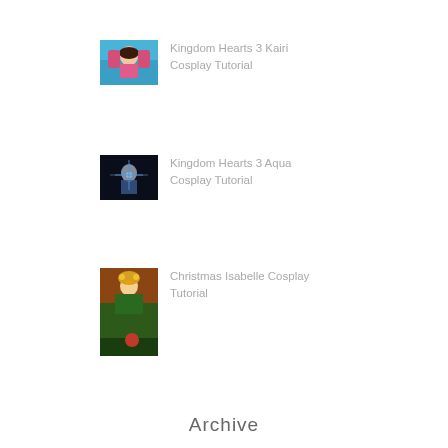[Figure (photo): Thumbnail photo of Kingdom Hearts 3 Kairi cosplay - colorful background with pink costume]
Kingdom Hearts 3 Kairi Cosplay Tutorial
[Figure (photo): Thumbnail photo of Kingdom Hearts 3 Aqua cosplay - dark background with blue glow]
Kingdom Hearts 3 Aqua Cosplay Tutorial
[Figure (photo): Thumbnail photo of Christmas Isabelle cosplay - green dress near Christmas tree]
Christmas Isabelle Cosplay Tutorial
Archive